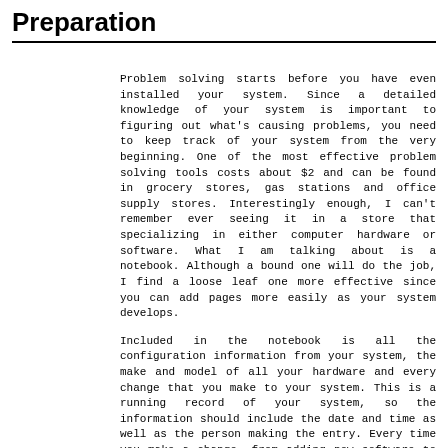Preparation
Problem solving starts before you have even installed your system. Since a detailed knowledge of your system is important to figuring out what's causing problems, you need to keep track of your system from the very beginning. One of the most effective problem solving tools costs about $2 and can be found in grocery stores, gas stations and office supply stores. Interestingly enough, I can't remember ever seeing it in a store that specializing in either computer hardware or software. What I am talking about is a notebook. Although a bound one will do the job, I find a loose leaf one more effective since you can add pages more easily as your system develops.
Included in the notebook is all the configuration information from your system, the make and model of all your hardware and every change that you make to your system. This is a running record of your system, so the information should include the date and time as well as the person making the entry. Every time you make a change, from adding new software to changing kernel parameters, should be recorded in your log.
Don't be terse with comments like, "Changed kernel parameter and relinked." This should be detailed like,